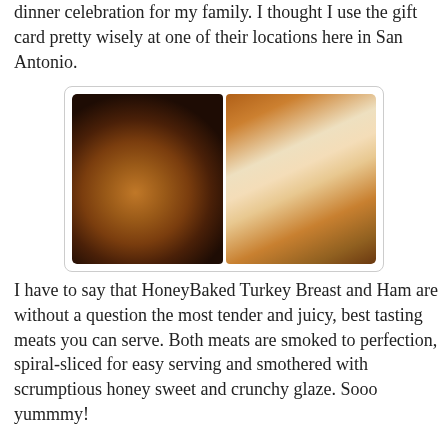dinner celebration for my family. I thought I use the gift card pretty wisely at one of their locations here in San Antonio.
[Figure (photo): Two side-by-side food photos: left shows a whole HoneyBaked turkey breast in a dark tray; right shows a sliced turkey breast revealing white meat with glazed crust.]
I have to say that HoneyBaked Turkey Breast and Ham are without a question the most tender and juicy, best tasting meats you can serve. Both meats are smoked to perfection, spiral-sliced for easy serving and smothered with scrumptious honey sweet and crunchy glaze. Sooo yummmy!
[Figure (photo): Two side-by-side food photos: left shows a whole HoneyBaked ham with honey-crunchy glaze on foil; right shows a sliced spiral ham revealing pink meat with dark caramelized exterior.]
If you ran out of time cooking and prepping for Thanksgiving dinner, HoneyBaked makes your holiday dinner easy and